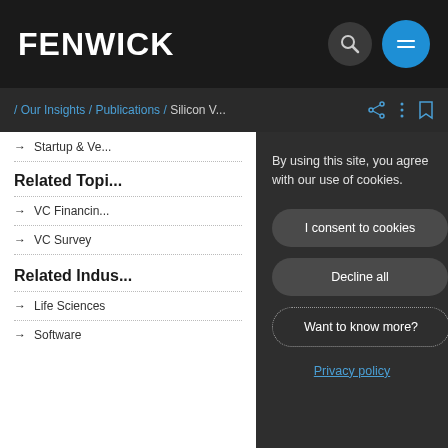FENWICK
/ Our Insights / Publications / Silicon V...
Startup & Ve...
Related Topi...
→ VC Financin...
→ VC Survey
Related Indus...
→ Life Sciences
→ Software
By using this site, you agree with our use of cookies.
I consent to cookies
Decline all
Want to know more?
Privacy policy